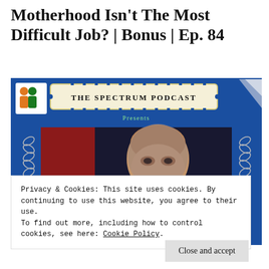Motherhood Isn't The Most Difficult Job? | Bonus | Ep. 84
[Figure (screenshot): The Spectrum Podcast thumbnail image featuring a bald man speaking into a microphone on a dark stage, with a blue background, chain decorations on the sides, a logo in the upper left, and THE SPECTRUM PODCAST banner at top.]
Privacy & Cookies: This site uses cookies. By continuing to use this website, you agree to their use.
To find out more, including how to control cookies, see here: Cookie Policy
Close and accept